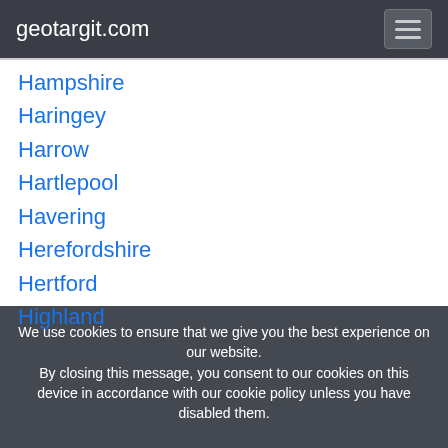geotargit.com
Hampshire
Haringey
Harrow
Hartlepool
Havering
Herefordshire
Hertford
Highland
We use cookies to ensure that we give you the best experience on our website. By closing this message, you consent to our cookies on this device in accordance with our cookie policy unless you have disabled them.
I Agree!